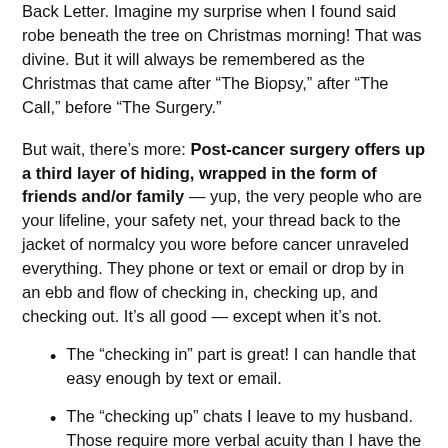Back Letter. Imagine my surprise when I found said robe beneath the tree on Christmas morning! That was divine. But it will always be remembered as the Christmas that came after “The Biopsy,” after “The Call,” before “The Surgery.”
But wait, there’s more: Post-cancer surgery offers up a third layer of hiding, wrapped in the form of friends and/or family — yup, the very people who are your lifeline, your safety net, your thread back to the jacket of normalcy you wore before cancer unraveled everything. They phone or text or email or drop by in an ebb and flow of checking in, checking up, and checking out. It’s all good — except when it’s not.
The “checking in” part is great! I can handle that easy enough by text or email.
The “checking up” chats I leave to my husband. Those require more verbal acuity than I have the energy to muster at the moment.
It’s the “checking outs” that are the most difficult to decipher —and to deal with. I’m not talking about the “eyeball” type of checking out you